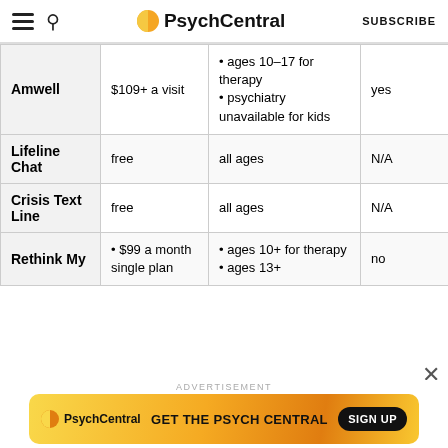PsychCentral | SUBSCRIBE
|  | Price | Age availability | Insurance accepted |
| --- | --- | --- | --- |
| Amwell | $109+ a visit | • ages 10–17 for therapy
• psychiatry unavailable for kids | yes |
| Lifeline Chat | free | all ages | N/A |
| Crisis Text Line | free | all ages | N/A |
| Rethink My | • $99 a month single plan | • ages 10+ for therapy
• ages 13+ | no |
ADVERTISEMENT
[Figure (logo): PsychCentral advertisement banner: GET THE PSYCH CENTRAL SIGN UP]